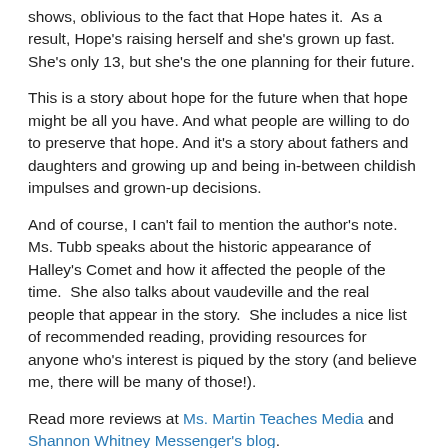shows, oblivious to the fact that Hope hates it.  As a result, Hope's raising herself and she's grown up fast.  She's only 13, but she's the one planning for their future.
This is a story about hope for the future when that hope might be all you have. And what people are willing to do to preserve that hope. And it's a story about fathers and daughters and growing up and being in-between childish impulses and grown-up decisions.
And of course, I can't fail to mention the author's note.  Ms. Tubb speaks about the historic appearance of Halley's Comet and how it affected the people of the time.  She also talks about vaudeville and the real people that appear in the story.  She includes a nice list of recommended reading, providing resources for anyone who's interest is piqued by the story (and believe me, there will be many of those!).
Read more reviews at Ms. Martin Teaches Media and Shannon Whitney Messenger's blog.
Selling Hope will be on shelves November 9.